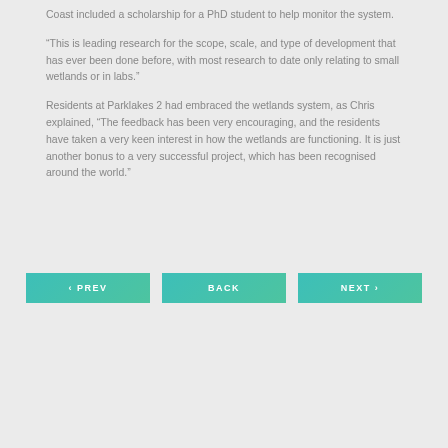Coast included a scholarship for a PhD student to help monitor the system.
“This is leading research for the scope, scale, and type of development that has ever been done before, with most research to date only relating to small wetlands or in labs.”
Residents at Parklakes 2 had embraced the wetlands system, as Chris explained, “The feedback has been very encouraging, and the residents have taken a very keen interest in how the wetlands are functioning. It is just another bonus to a very successful project, which has been recognised around the world.”
‹ PREV
BACK
NEXT ›